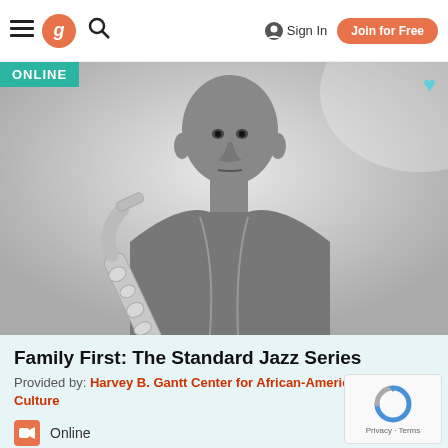Goldstar | Sign In | Join for Free
[Figure (photo): Black and white photo of a bald man playing a saxophone, looking intensely at the camera]
Family First: The Standard Jazz Series
Provided by: Harvey B. Gantt Center for African-American Arts + Culture
Online
Event Website